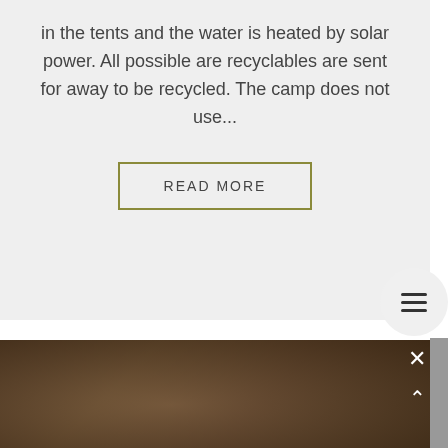in the tents and the water is heated by solar power. All possible are recyclables are sent for away to be recycled. The camp does not use...
READ MORE
[Figure (photo): Dark blurred interior photo, likely showing a person or figure in low light conditions inside a camp or tent structure]